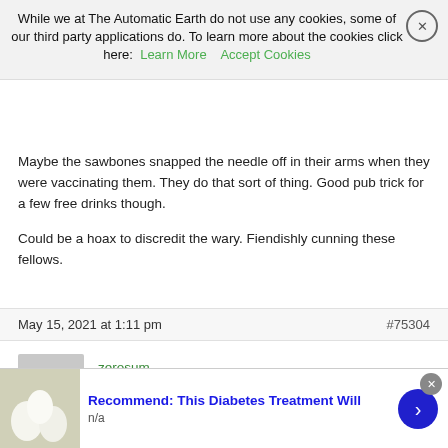While we at The Automatic Earth do not use any cookies, some of our third party applications do. To learn more about the cookies click here:  Learn More   Accept Cookies
Maybe the sawbones snapped the needle off in their arms when they were vaccinating them. They do that sort of thing. Good pub trick for a few free drinks though.

Could be a hoax to discredit the wary. Fiendishly cunning these fellows.
May 15, 2021 at 1:11 pm   #75304
zerosum
Participant
Lipstick on a pig.
( means making superficial or cosmetic changes to a product in a futile effort to disguise its fundamental failings
Recommend: This Diabetes Treatment Will
n/a